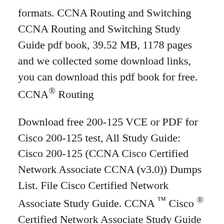formats. CCNA Routing and Switching CCNA Routing and Switching Study Guide pdf book, 39.52 MB, 1178 pages and we collected some download links, you can download this pdf book for free. CCNA® Routing
Download free 200-125 VCE or PDF for Cisco 200-125 test, All Study Guide: Cisco 200-125 (CCNA Cisco Certified Network Associate CCNA (v3.0)) Dumps List. File Cisco Certified Network Associate Study Guide. CCNA ™ Cisco ® Certified Network Associate Study Guide SYBEX warrants the enclosed media to be free of
(free resource) 3 STUDY STRATEGIES CCENT ICND1 Study Guide: Exam 100-105 CCNA Routing and Switching Complete Study Guide: Cisco